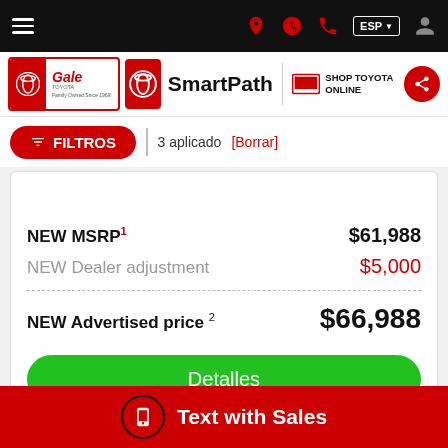[Figure (screenshot): Mobile website navigation bar with hamburger menu, location pin, clock, phone icons, ESP language selector, and user icon on black background]
[Figure (logo): Gale Toyota logo with SmartPath branding and Shop Toyota Online link with share button]
FILTROS | 3 aplicado [Borrar]
| NEW MSRP¹ | $61,988 |
| NEW Dealer adjustment | $5,000 |
| NEW Advertised price² | $66,988 |
Detalles
Text with Sales